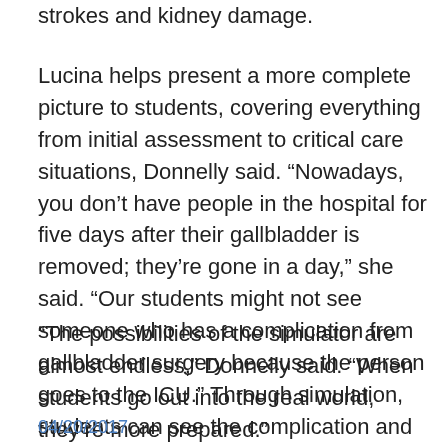strokes and kidney damage.
Lucina helps present a more complete picture to students, covering everything from initial assessment to critical care situations, Donnelly said. “Nowadays, you don’t have people in the hospital for five days after their gallbladder is removed; they’re gone in a day,” she said. “Our students might not see someone who has a complication from gallbladder surgery because the person goes to the ICU.” Through simulation, students can see the complication and learn how to treat it.
“The possibilities of the simulator are almost endless,” Donnelly said. “When students go out into the real world, they’re more prepared.”
04/20/2017